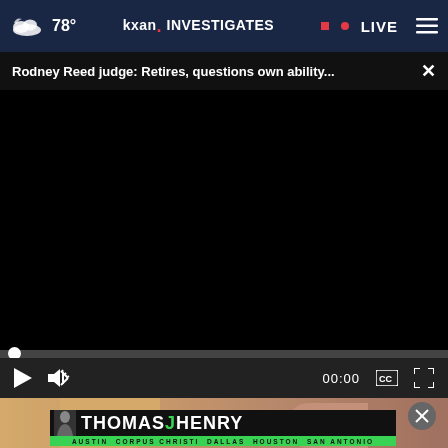78° kxan. INVESTIGATES • LIVE
Rodney Reed judge: Retires, questions own ability... ×
[Figure (screenshot): Black video player area, fully dark/blank]
[Figure (screenshot): Video player controls bar: play button, mute button, 00:00 timestamp, captions icon, fullscreen icon]
[Figure (photo): Partial thumbnail showing hands holding an object, warm tan background]
[Figure (logo): Thomas J Henry law firm advertisement banner. Man in suit on left side. Text: THOMASJHENRY with J in green. Bottom green bar: AUSTIN CORPUS CHRISTI DALLAS HOUSTON SAN ANTONIO]